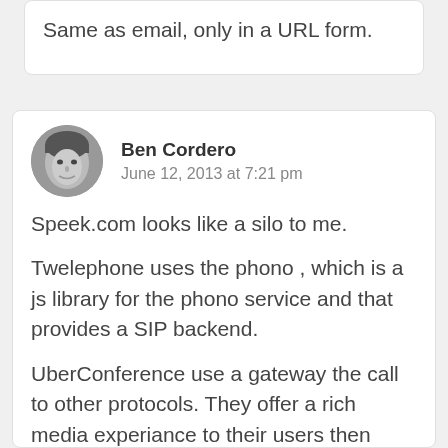Same as email, only in a URL form.
Ben Cordero
June 12, 2013 at 7:21 pm
Speek.com looks like a silo to me.
Twelephone uses the phono , which is a js library for the phono service and that provides a SIP backend.
UberConference use a gateway the call to other protocols. They offer a rich media experiance to their users then interwork with other protocols